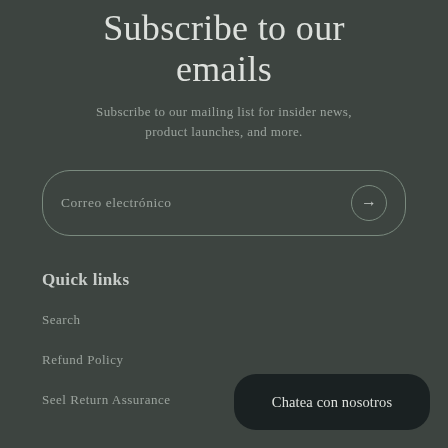Subscribe to our emails
Subscribe to our mailing list for insider news, product launches, and more.
Correo electrónico
Quick links
Search
Refund Policy
Seel Return Assurance
Chatea con nosotros